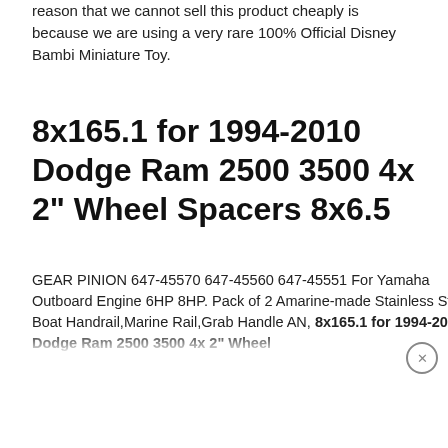reason that we cannot sell this product cheaply is because we are using a very rare 100% Official Disney Bambi Miniature Toy.
8x165.1 for 1994-2010 Dodge Ram 2500 3500 4x 2" Wheel Spacers 8x6.5
GEAR PINION 647-45570 647-45560 647-45551 For Yamaha Outboard Engine 6HP 8HP. Pack of 2 Amarine-made Stainless Steel Boat Handrail,Marine Rail,Grab Handle AN, 8x165.1 for 1994-2010 Dodge Ram 2500 3500 4x 2" Wheel